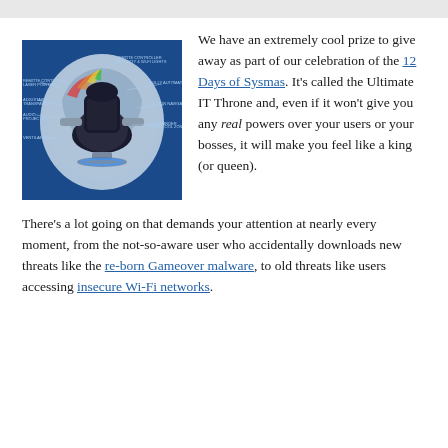[Figure (illustration): Diagram of futuristic gaming/IT throne chair with labels, on blue background]
We have an extremely cool prize to give away as part of our celebration of the 12 Days of Sysmas. It's called the Ultimate IT Throne and, even if it won't give you any real powers over your users or your bosses, it will make you feel like a king (or queen).
There's a lot going on that demands your attention at nearly every moment, from the not-so-aware user who accidentally downloads new threats like the re-born Gameover malware, to old threats like users accessing insecure Wi-Fi networks.